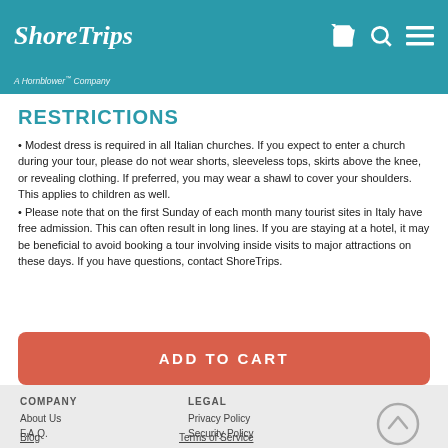ShoreTrips - A Hornblower Company
A Hornblower™ Company
RESTRICTIONS
Modest dress is required in all Italian churches. If you expect to enter a church during your tour, please do not wear shorts, sleeveless tops, skirts above the knee, or revealing clothing. If preferred, you may wear a shawl to cover your shoulders. This applies to children as well.
Please note that on the first Sunday of each month many tourist sites in Italy have free admission. This can often result in long lines. If you are staying at a hotel, it may be beneficial to avoid booking a tour involving inside visits to major attractions on these days. If you have questions, contact ShoreTrips.
ADD TO CART
COMPANY
LEGAL
About Us
F.A.Q.
Blog
Privacy Policy
Security Policy
Terms of Service